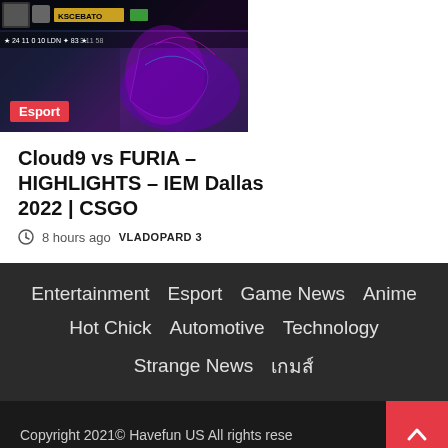[Figure (screenshot): CSGO gameplay screenshot thumbnail showing a player character with Esport badge overlay]
Cloud9 vs FURIA – HIGHLIGHTS – IEM Dallas 2022 | CSGO
8 hours ago  vLADOPARD 3
Entertainment  Esport  Game News  Anime  Hot Chick  Automotive  Technology  Strange News  เกมส์
Copyright 2021© Havefun US All rights rese…